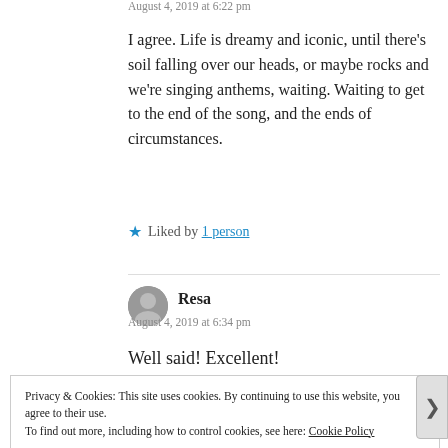August 4, 2019 at 6:22 pm
I agree. Life is dreamy and iconic, until there's soil falling over our heads, or maybe rocks and we're singing anthems, waiting. Waiting to get to the end of the song, and the ends of circumstances.
★ Liked by 1 person
Resa
August 4, 2019 at 6:34 pm
Well said! Excellent!
Privacy & Cookies: This site uses cookies. By continuing to use this website, you agree to their use. To find out more, including how to control cookies, see here: Cookie Policy